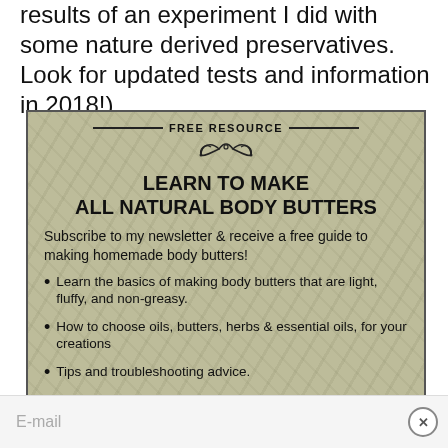results of an experiment I did with some nature derived preservatives. Look for updated tests and information in 2018!)
[Figure (infographic): Free Resource banner with nature/garden background image. Contains decorative header 'FREE RESOURCE' with ornamental swirl, large bold title 'LEARN TO MAKE ALL NATURAL BODY BUTTERS', subscription pitch, and three bullet points about learning body butter making basics, choosing oils/butters/herbs/essential oils, and tips and troubleshooting advice.]
Subscribe to my newsletter & receive a free guide to making homemade body butters!
Learn the basics of making body butters that are light, fluffy, and non-greasy.
How to choose oils, butters, herbs & essential oils, for your creations
Tips and troubleshooting advice.
E-mail